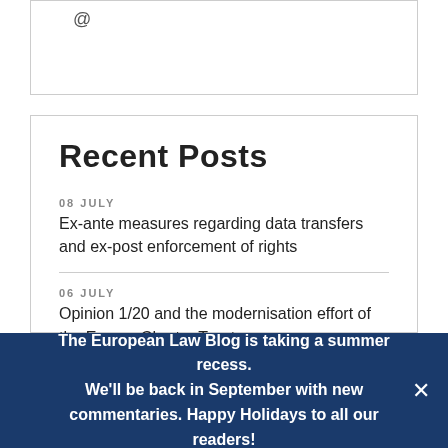[Figure (other): Partial box with @ symbol visible at top of page]
Recent Posts
08 JULY
Ex-ante measures regarding data transfers and ex-post enforcement of rights
06 JULY
Opinion 1/20 and the modernisation effort of the Energy Charter Treaty
The European Law Blog is taking a summer recess. We'll be back in September with new commentaries. Happy Holidays to all our readers!